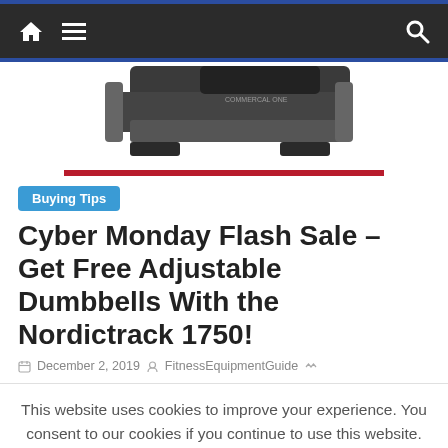Navigation bar with home icon, menu icon, and search icon
[Figure (photo): Photo of a NordicTrack 1750 treadmill viewed from above and side angle, with a dark red horizontal line below it]
Buying Tips
Cyber Monday Flash Sale – Get Free Adjustable Dumbbells With the Nordictrack 1750!
December 2, 2019  FitnessEquipmentGuide
This website uses cookies to improve your experience. You consent to our cookies if you continue to use this website.
OK  Read More